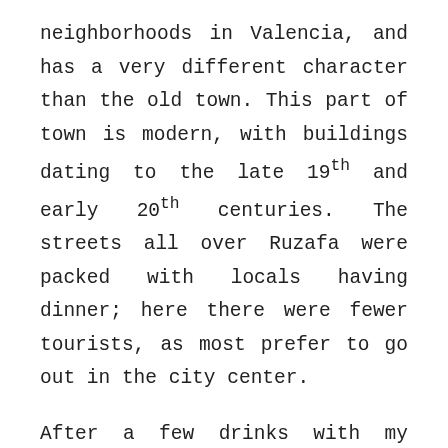neighborhoods in Valencia, and has a very different character than the old town. This part of town is modern, with buildings dating to the late 19th and early 20th centuries. The streets all over Ruzafa were packed with locals having dinner; here there were fewer tourists, as most prefer to go out in the city center.
After a few drinks with my whole crew and an old friend of mine from university who just so happened to be in town, we walked back home. The main square, which I had found empty the previous night, was now